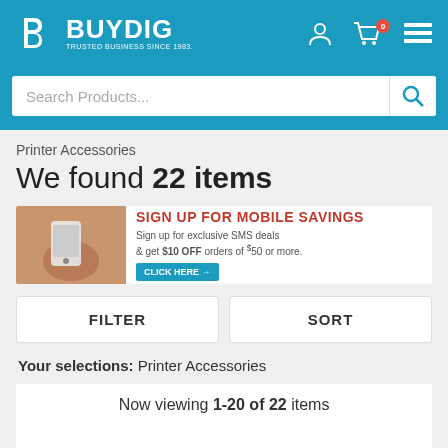[Figure (logo): BuyDig logo with 'b' icon and tagline 'TRUSTED BUSINESS SINCE 1983']
Search Products...
Printer Accessories
We found 22 items
[Figure (infographic): Mobile savings banner: phone image on left, 'SIGN UP FOR MOBILE SAVINGS' in red bold text, 'Sign up for exclusive SMS deals & get $10 OFF orders of $50 or more.' with a blue 'CLICK HERE' button]
FILTER
SORT
Your selections: Printer Accessories
Now viewing 1-20 of 22 items